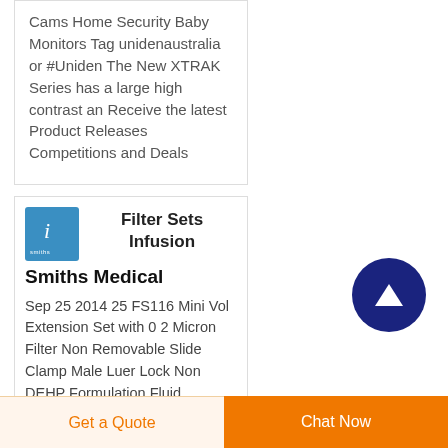Cams Home Security Baby Monitors Tag unidenaustralia or #Uniden The New XTRAK Series has a large high contrast an Receive the latest Product Releases Competitions and Deals
Filter Sets Infusion
Smiths Medical
Sep 25 2014  25 FS116 Mini Vol Extension Set with 0 2 Micron Filter Non Removable Slide Clamp Male Luer Lock Non DEHP Formulation Fluid
[Figure (logo): Blue square logo with a white stylized letter i and white text below]
[Figure (other): Dark navy blue circular scroll-to-top button with white upward arrow]
Get a Quote    Chat Now